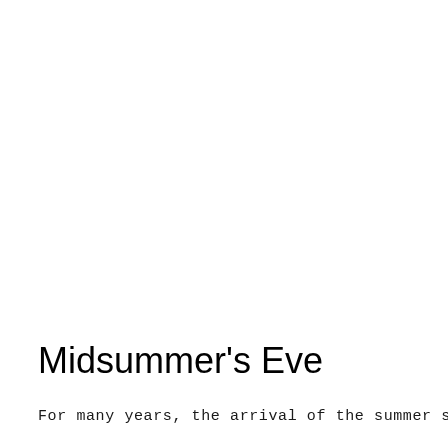Midsummer's Eve
For many years, the arrival of the summer solstice